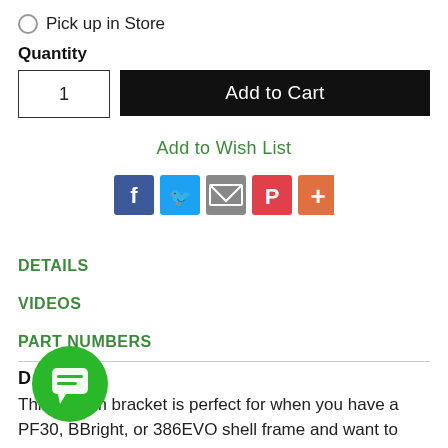Pick up in Store
Quantity
1
Add to Cart
Add to Wish List
[Figure (other): Social share icons: Facebook (blue f), Twitter (blue bird), Email (grey envelope), Pinterest (red P), More (orange +)]
DETAILS
VIDEOS
PART NUMBERS
[Figure (other): Green circular chat bubble / messenger icon overlay]
D...
This bottom bracket is perfect for when you have a PF30, BBright, or 386EVO shell frame and want to